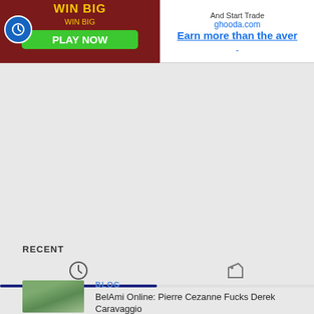[Figure (screenshot): Advertisement banner split into two sections: left side shows a dark red casino-style ad with yellow text 'WIN BIG', a green 'PLAY NOW' button, and a blue circle icon; right side shows a white panel with text 'And Start Trade', 'ghooda.com', and blue link text 'Earn more than the aver']
RECENT
[Figure (infographic): Two tab icons: a clock icon on the left (active tab, underlined in dark navy) and a tag/label icon on the right]
BLOG
BelAmi Online: Pierre Cezanne Fucks Derek Caravaggio
[Figure (photo): Thumbnail photo showing two people outdoors, green foliage background]